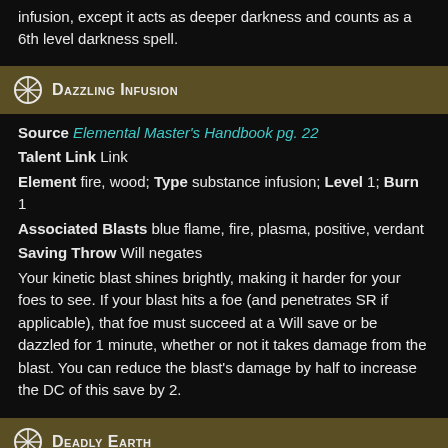infusion, except it acts as deeper darkness and counts as a 6th level darkness spell.
Dazzling Infusion
Source Elemental Master's Handbook pg. 22
Talent Link Link
Element fire, wood; Type substance infusion; Level 1; Burn 1
Associated Blasts blue flame, fire, plasma, positive, verdant
Saving Throw Will negates
Your kinetic blast shines brightly, making it harder for your foes to see. If your blast hits a foe (and penetrates SR if applicable), that foe must succeed at a Will save or be dazzled for 1 minute, whether or not it takes damage from the blast. You can reduce the blast's damage by half to increase the DC of this save by 2.
Deadly Earth
Source Occult Adventures pg. 18
Talent Link Link